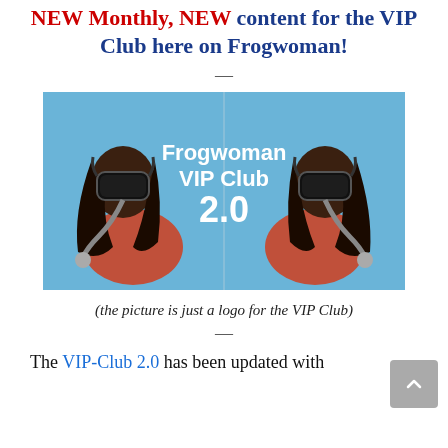NEW Monthly, NEW content for the VIP Club here on Frogwoman!
[Figure (logo): Frogwoman VIP Club 2.0 logo image showing a mirrored woman in scuba diving gear (mask and regulator) wearing a red/orange swimsuit against a blue sky background, with white text reading 'Frogwoman VIP Club 2.0']
(the picture is just a logo for the VIP Club)
The VIP-Club 2.0 has been updated with